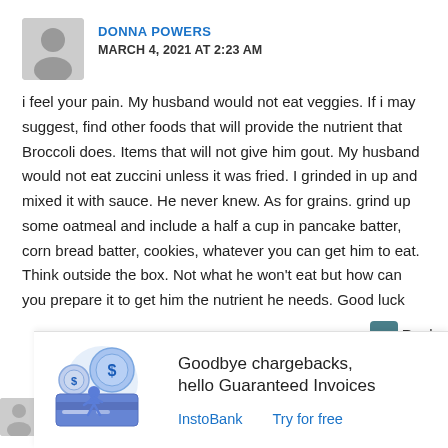DONNA POWERS
MARCH 4, 2021 AT 2:23 AM
i feel your pain. My husband would not eat veggies. If i may suggest, find other foods that will provide the nutrient that Broccoli does. Items that will not give him gout. My husband would not eat zuccini unless it was fried. I grinded in up and mixed it with sauce. He never knew. As for grains. grind up some oatmeal and include a half a cup in pancake batter, corn bread batter, cookies, whatever you can get him to eat. Think outside the box. Not what he won't eat but how can you prepare it to get him the nutrient he needs. Good luck
Reply
[Figure (illustration): Advertisement illustration with dollar coins and a person, InstoBank ad]
Goodbye chargebacks, hello Guaranteed Invoices
InstoBank
Try for free